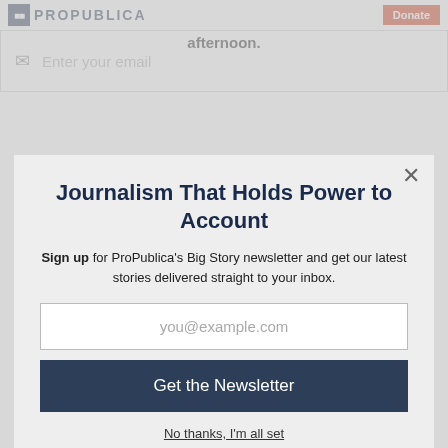ProPublica | Donate
afternoon.
Enter your email
Journalism That Holds Power to Account
Sign up for ProPublica's Big Story newsletter and get our latest stories delivered straight to your inbox.
you@example.com
Get the Newsletter
No thanks, I'm all set
This site is protected by reCAPTCHA and the Google Privacy Policy and Terms of Service apply.